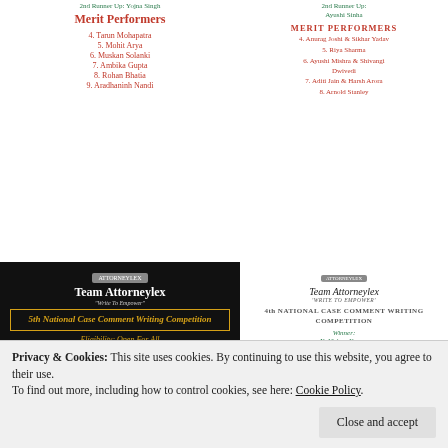2nd Runner Up: Yojna Singh
Merit Performers
4. Tarun Mohapatra
5. Mohit Arya
6. Muskan Solanki
7. Ambika Gupta
8. Rohan Bhatia
9. Aradhaninh Nandi
2nd Runner Up: Ayushi Sinha
MERIT PERFORMERS
4. Anurag Joshi & Sikhar Yadav
5. Riya Sharma
6. Ayushi Mishra & Shivangi Dwivedi
7. Aditi Jain & Harsh Arora
8. Arnold Stanley
[Figure (infographic): Advertisement for 5th National Case Comment Writing Competition by Team Attorneylex. Black background with gold text. Shows eligibility, important dates, prizes, registration fee, and contact details.]
Team Attorneylex
'WRITE TO EMPOWER'
4th NATIONAL CASE COMMENT WRITING COMPETITION
Winner: N. Vishan Kumar
Runner Up: Riya
2nd Runner Up: Shirani Yadav & Amandeep
MERIT PERFORMERS
4. Anupam Mishra & Priya Jain
5. Rachit Singh
6. Akanksha Gupta
7. Naina Mishra
Privacy & Cookies: This site uses cookies. By continuing to use this website, you agree to their use. To find out more, including how to control cookies, see here: Cookie Policy
Close and accept